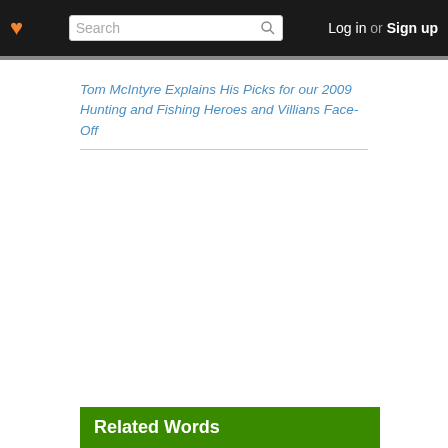Log in or Sign up
Tom McIntyre Explains His Picks for our 2009 Hunting and Fishing Heroes and Villians Face-Off
Related Words